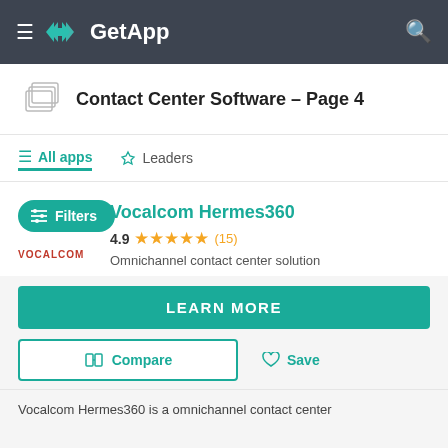GetApp
Contact Center Software - Page 4
All apps | Leaders
Vocalcom Hermes360
4.9 ★★★★★ (15)
Omnichannel contact center solution
LEARN MORE
Compare
Save
Vocalcom Hermes360 is a omnichannel contact center